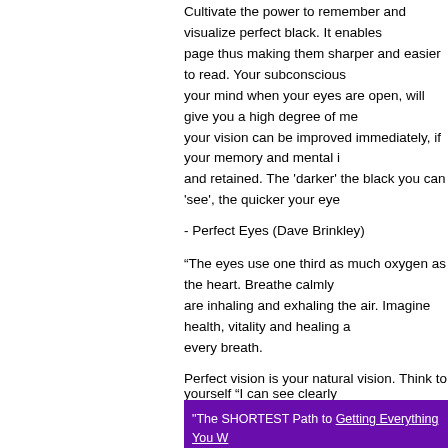Cultivate the power to remember and visualize perfect black. It enables page thus making them sharper and easier to read. Your subconscious your mind when your eyes are open, will give you a high degree of me your vision can be improved immediately, if your memory and mental i and retained. The 'darker' the black you can 'see', the quicker your eye
- Perfect Eyes (Dave Brinkley)
“The eyes use one third as much oxygen as the heart. Breathe calmly are inhaling and exhaling the air. Imagine health, vitality and healing a every breath.
Perfect vision is your natural vision. Think to yourself “I can see clearly
- Perfect Eyes (Dave Brinkley)
Print Friendly
Inspire others by sharing the link to this pa
"The SHORTEST Path to Getting Everything You W information that explains how the universe works."

"Mind Reality" is the BEST website in the world that SECRETS to ALL of The MOST Important Things in information ANYWHERE Else that is expressed in